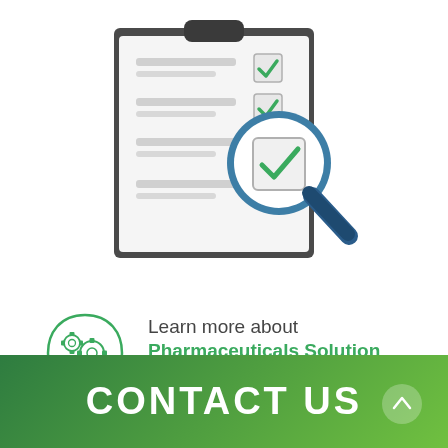[Figure (illustration): Clipboard with checklist showing green checkmarks and a blue magnifying glass zooming in on a checkbox]
[Figure (illustration): Green head silhouette with gear icons representing pharmaceuticals solution knowledge]
Learn more about
Pharmaceuticals Solution
CONTACT US